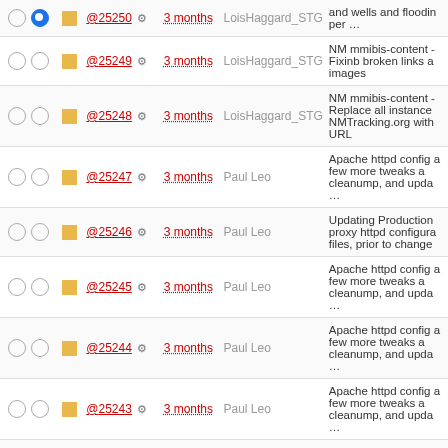|  |  | ID | Age | Author | Description |
| --- | --- | --- | --- | --- | --- |
| ○ ● | □ | @25249 ⚙ | 3 months | LoisHaggard_STG | NM mmibis-content - Fixinb broken links a images |
| ○ ○ | □ | @25248 ⚙ | 3 months | LoisHaggard_STG | NM mmibis-content - Replace all instance NMTracking.org with URL |
| ○ ○ | □ | @25247 ⚙ | 3 months | Paul Leo | Apache httpd config a few more tweaks a cleanump, and upda ... |
| ○ ○ | □ | @25246 ⚙ | 3 months | Paul Leo | Updating Production proxy httpd configura files, prior to change |
| ○ ○ | □ | @25245 ⚙ | 3 months | Paul Leo | Apache httpd config a few more tweaks a cleanump, and upda ... |
| ○ ○ | □ | @25244 ⚙ | 3 months | Paul Leo | Apache httpd config a few more tweaks a cleanump, and upda ... |
| ○ ○ | □ | @25243 ⚙ | 3 months | Paul Leo | Apache httpd config a few more tweaks a cleanump, and upda ... |
| ○ ○ | □ | @25242 ⚙ | 3 months | Paul Leo | Apache httpd config a few more tweaks a cleanump |
| ○ ○ | □ |  | 3 months | Paul Leo | Apache httpd config |